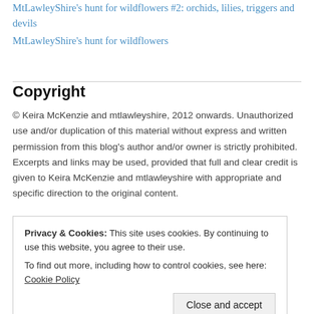MtLawleyShire's hunt for wildflowers #2: orchids, lilies, triggers and devils
MtLawleyShire's hunt for wildflowers
Copyright
© Keira McKenzie and mtlawleyshire, 2012 onwards. Unauthorized use and/or duplication of this material without express and written permission from this blog's author and/or owner is strictly prohibited. Excerpts and links may be used, provided that full and clear credit is given to Keira McKenzie and mtlawleyshire with appropriate and specific direction to the original content.
Privacy & Cookies: This site uses cookies. By continuing to use this website, you agree to their use.
To find out more, including how to control cookies, see here: Cookie Policy